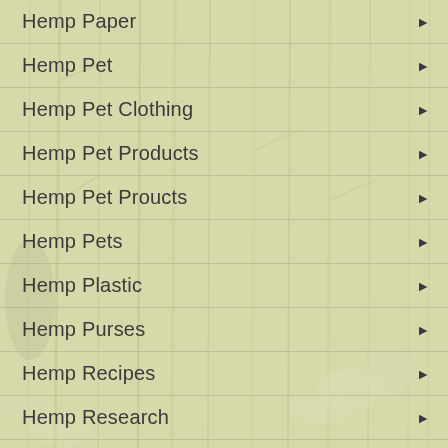Hemp Paper
Hemp Pet
Hemp Pet Clothing
Hemp Pet Products
Hemp Pet Proucts
Hemp Pets
Hemp Plastic
Hemp Purses
Hemp Recipes
Hemp Research
Hemp Rope
Hemp Salve
Hemp Seed Oil